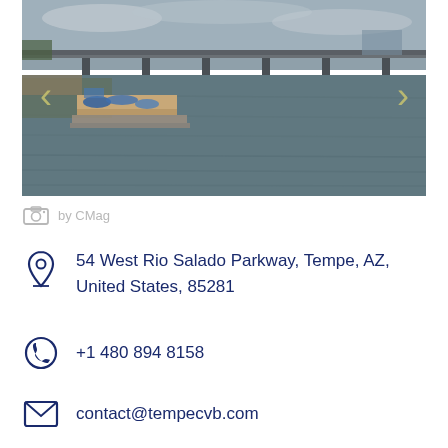[Figure (photo): Aerial/waterfront photograph of Tempe Town Lake with a bridge in the background, boat docks on the left, and calm water. Navigation arrows on left and right sides of image.]
by CMag
54 West Rio Salado Parkway, Tempe, AZ, United States, 85281
+1 480 894 8158
contact@tempecvb.com